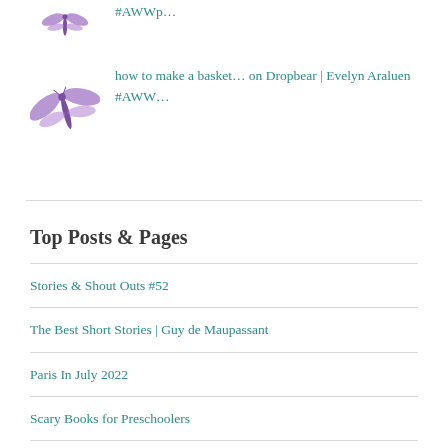#AWWp…
how to make a basket… on Dropbear | Evelyn Araluen #AWW…
Top Posts & Pages
Stories & Shout Outs #52
The Best Short Stories | Guy de Maupassant
Paris In July 2022
Scary Books for Preschoolers
how to make a basket | Jazz Money #AWWpoetry